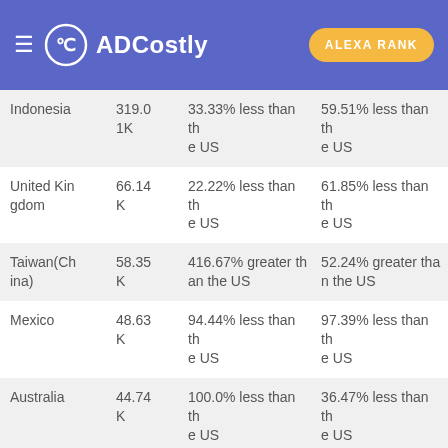ADCostly | ALEXA RANK
| Country | Audience Size | CPC Comparison | CPM Comparison |
| --- | --- | --- | --- |
| Indonesia | 319.01K | 33.33% less than the US | 59.51% less than the US |
| United Kingdom | 66.14K | 22.22% less than the US | 61.85% less than the US |
| Taiwan(China) | 58.35K | 416.67% greater than the US | 52.24% greater than the US |
| Mexico | 48.63K | 94.44% less than the US | 97.39% less than the US |
| Australia | 44.74K | 100.0% less than the US | 36.47% less than the US |
The interest"Breaststroke" has 303.44K audiences in the United States. The average CPC